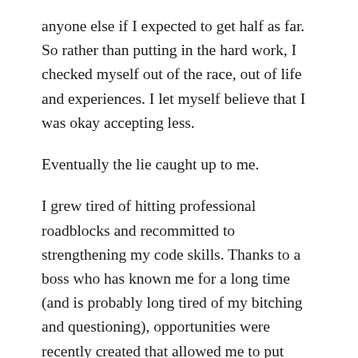anyone else if I expected to get half as far. So rather than putting in the hard work, I checked myself out of the race, out of life and experiences. I let myself believe that I was okay accepting less.
Eventually the lie caught up to me.
I grew tired of hitting professional roadblocks and recommitted to strengthening my code skills. Thanks to a boss who has known me for a long time (and is probably long tired of my bitching and questioning), opportunities were recently created that allowed me to put some of my code skills to the test. More amazingly, even when the project went sideways, I didn't view it as a failure. It's the worst type of business-writing cliche there is, but this “failure” became a learning opportunity